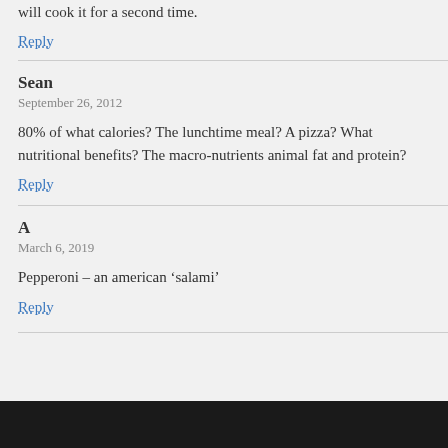will cook it for a second time.
Reply
Sean
September 26, 2012
80% of what calories? The lunchtime meal? A pizza? What nutritional benefits? The macro-nutrients animal fat and protein?
Reply
A
March 6, 2019
Pepperoni – an american 'salami'
Reply